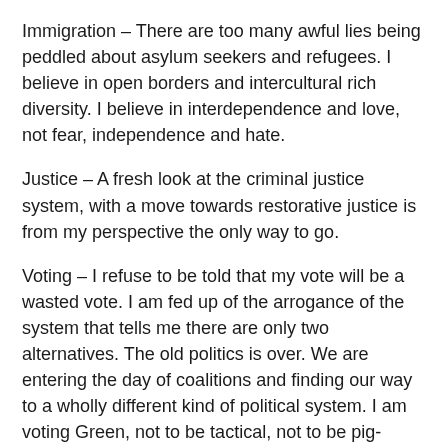Immigration – There are too many awful lies being peddled about asylum seekers and refugees. I believe in open borders and intercultural rich diversity. I believe in interdependence and love, not fear, independence and hate.
Justice – A fresh look at the criminal justice system, with a move towards restorative justice is from my perspective the only way to go.
Voting – I refuse to be told that my vote will be a wasted vote. I am fed up of the arrogance of the system that tells me there are only two alternatives. The old politics is over. We are entering the day of coalitions and finding our way to a wholly different kind of political system. I am voting Green, not to be tactical, not to be pig-headed, not out of fear, but because I believe they genuinely hold the brightest torch for the things that matter the most not for me, but for